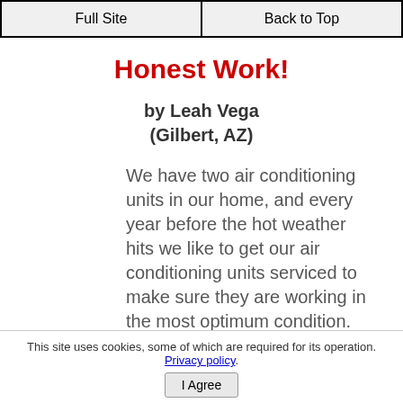Full Site | Back to Top
Honest Work!
by Leah Vega
(Gilbert, AZ)
We have two air conditioning units in our home, and every year before the hot weather hits we like to get our air conditioning units serviced to make sure they are working in the most optimum condition. The gentleman that came out to service our units was very courteous and professional. I will definitely be using this company in the future for all of
This site uses cookies, some of which are required for its operation. Privacy policy. I Agree